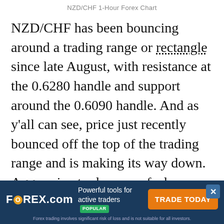NZD/CHF 1-Hour Forex Chart
NZD/CHF has been bouncing around a trading range or rectangle since late August, with resistance at the 0.6280 handle and support around the 0.6090 handle. And as y’all can see, price just recently bounced off the top of the trading range and is making its way down. Aggressive traders may feel inclined to ride the downward movement, but let me just warn y’all that the stochastic oscillator is currently indicating potentially oversold conditions, so there’s a good chance…
[Figure (screenshot): FOREX.com advertisement banner with logo, tagline 'Powerful tools for active traders POPULAR', orange 'TRADE TODAY' button, and disclaimer text.]